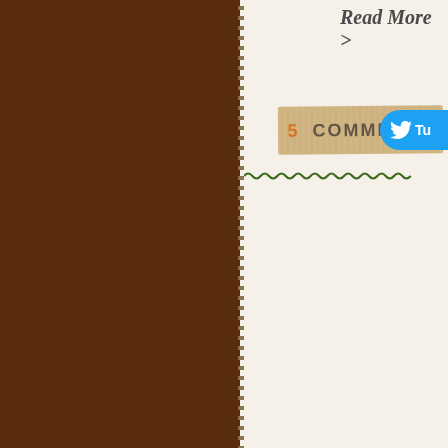Read More >
5 COMMENTS
[Figure (screenshot): Twitter/Tweet button partially visible on right edge, cyan/blue color]
[Figure (illustration): Decorative wavy/zigzag dark green stitch line separator]
[Figure (illustration): Zigzag seam border between cream top section and green bottom section of website]
Kelsey's Closet
{ Wear a Story }
A journey is best mea
— Tim Cahill
[Figure (screenshot): Video thumbnail showing a person with crossed arms in a light blue shirt, with a green banner reading "I'M ONE OF THE TOP 10 LIVING UNDERWEAR JOURNALISTS IN INDIANA." and video player controls at bottom]
Site Design by Rule29